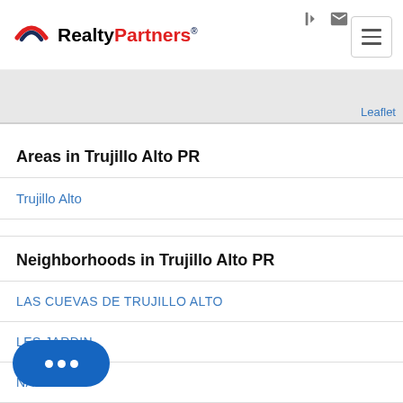[Figure (logo): RealtyPartners logo with red and blue arch icon and two-tone text]
[Figure (screenshot): Gray map strip with Leaflet link at right]
Areas in Trujillo Alto PR
Trujillo Alto
Neighborhoods in Trujillo Alto PR
LAS CUEVAS DE TRUJILLO ALTO
LES JARDIN
NA